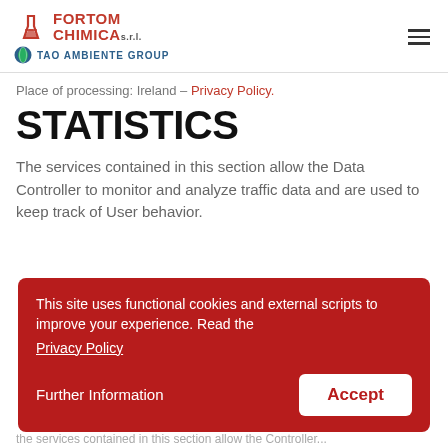Fortom Chimica s.r.l. – TAO Ambiente Group logo and navigation
Place of processing: Ireland – Privacy Policy.
STATISTICS
The services contained in this section allow the Data Controller to monitor and analyze traffic data and are used to keep track of User behavior.
This site uses functional cookies and external scripts to improve your experience. Read the Privacy Policy
Further Information   Accept